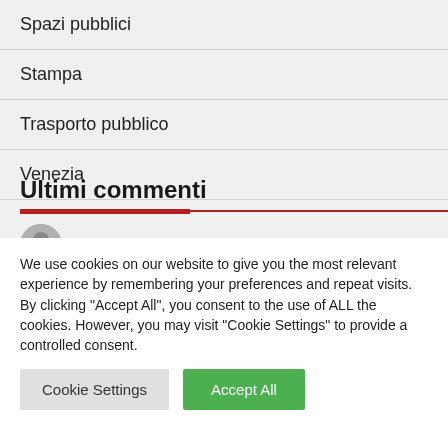Spazi pubblici
Stampa
Trasporto pubblico
Venezia
Ultimi commenti
fabio meacci
We use cookies on our website to give you the most relevant experience by remembering your preferences and repeat visits. By clicking "Accept All", you consent to the use of ALL the cookies. However, you may visit "Cookie Settings" to provide a controlled consent.
Cookie Settings
Accept All